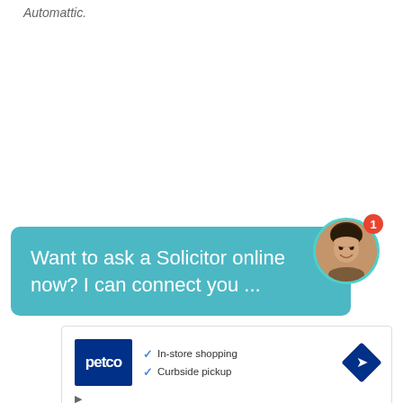Automattic.
[Figure (screenshot): Chat bubble widget in teal/blue color saying 'Want to ask a Solicitor online now? I can connect you ...' with a circular avatar photo of a woman with a notification badge showing '1']
[Figure (screenshot): Advertisement box showing Petco logo with checkmarks listing 'In-store shopping' and 'Curbside pickup', and a navy blue diamond navigation icon on the right]